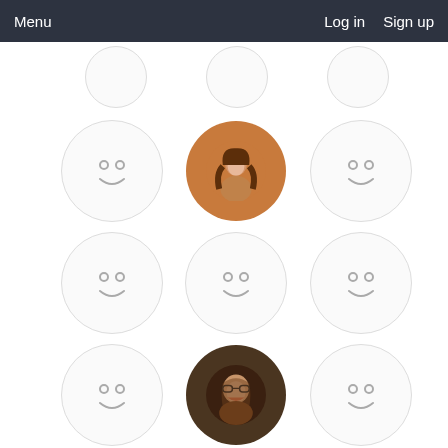Menu    Log in  Sign up
[Figure (screenshot): A grid of user profile avatars on a social platform. Most avatars are placeholder smiley face icons (circle with two small circle eyes and a smile arc). Three avatars show real photos: a woman with long hair in a warm-toned setting, a smiling woman with glasses and earrings, and a man wearing a cap. A fourth partial row at the bottom shows a dark circular logo/icon, a placeholder smiley, and a partial photo of a person.]